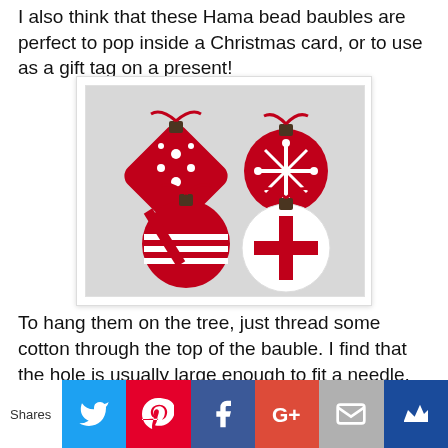I also think that these Hama bead baubles are perfect to pop inside a Christmas card, or to use as a gift tag on a present!
[Figure (photo): Four red and white Hama bead Christmas bauble ornaments arranged on a light background. Each bauble has a different pattern: one with snowflake/cross pattern, one with diagonal stripes, one white with red star pattern, and one with cross/X pattern. Each has a small dark metallic cap and red ribbon bow at the top.]
To hang them on the tree, just thread some cotton through the top of the bauble. I find that the hole is usually large enough to fit a needle, or else the beads are soft enough that the needle can be easily pushed through them.
[Figure (infographic): Social sharing bar with buttons: Shares label, Twitter (blue), Pinterest (red), Facebook (dark blue), Google+ (red-orange), Email (grey), Crown/bookmark (dark blue)]